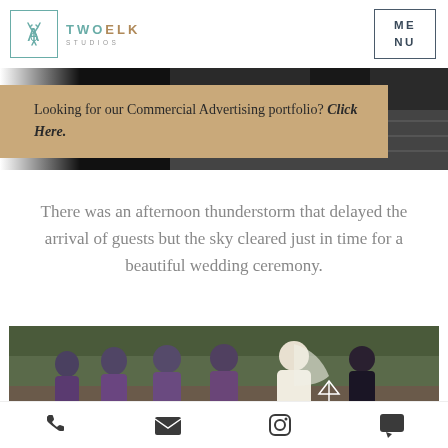[Figure (photo): Two Elk Studios logo with teal elk antler icon in a square border and teal/gold text, plus MENU box in top-right corner on white header bar]
[Figure (photo): Grayscale photo strip at top showing a man in a dark suit, partially visible, with wooden background]
Looking for our Commercial Advertising portfolio? Click Here.
There was an afternoon thunderstorm that delayed the arrival of guests but the sky cleared just in time for a beautiful wedding ceremony.
[Figure (photo): Color photo of bridesmaids in purple strapless dresses holding white flowers, with bride in white dress and veil on right, smiling, outdoors with evergreen trees in background]
[Figure (other): Footer bar with phone, email, Instagram, and chat icons]